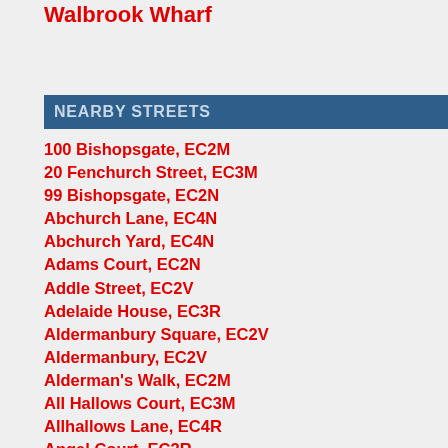Walbrook Wharf
NEARBY STREETS
100 Bishopsgate, EC2M
20 Fenchurch Street, EC3M
99 Bishopsgate, EC2N
Abchurch Lane, EC4N
Abchurch Yard, EC4N
Adams Court, EC2N
Addle Street, EC2V
Adelaide House, EC3R
Aldermanbury Square, EC2V
Aldermanbury, EC2V
Alderman's Walk, EC2M
All Hallows Court, EC3M
Allhallows Lane, EC4R
Angel Court, EC2R